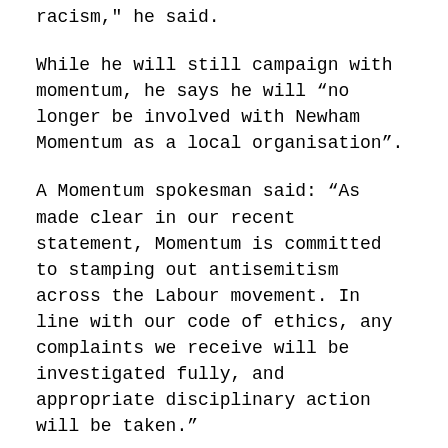racism," he said.
While he will still campaign with momentum, he says he will “no longer be involved with Newham Momentum as a local organisation”.
A Momentum spokesman said: “As made clear in our recent statement, Momentum is committed to stamping out antisemitism across the Labour movement. In line with our code of ethics, any complaints we receive will be investigated fully, and appropriate disciplinary action will be taken.”